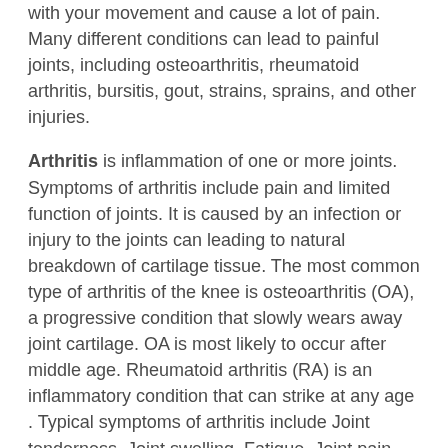with your movement and cause a lot of pain. Many different conditions can lead to painful joints, including osteoarthritis, rheumatoid arthritis, bursitis, gout, strains, sprains, and other injuries.
Arthritis is inflammation of one or more joints. Symptoms of arthritis include pain and limited function of joints. It is caused by an infection or injury to the joints can leading to natural breakdown of cartilage tissue. The most common type of arthritis of the knee is osteoarthritis (OA), a progressive condition that slowly wears away joint cartilage. OA is most likely to occur after middle age. Rheumatoid arthritis (RA) is an inflammatory condition that can strike at any age . Typical symptoms of arthritis include Joint tenderness, Joint swelling, Fatigue, Joint pain, Joint redness, Joint warmth, Joint stiffness or Loss of joint range of motion
Dr Raj JointAche Tablets composition: